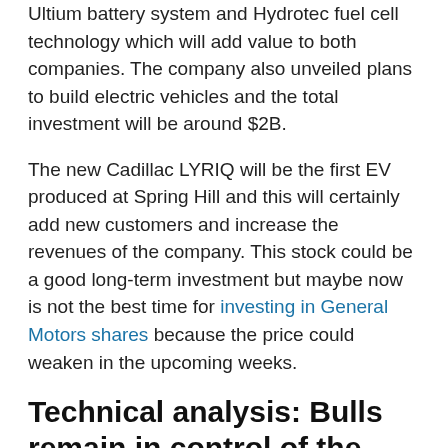Ultium battery system and Hydrotec fuel cell technology which will add value to both companies. The company also unveiled plans to build electric vehicles and the total investment will be around $2B.
The new Cadillac LYRIQ will be the first EV produced at Spring Hill and this will certainly add new customers and increase the revenues of the company. This stock could be a good long-term investment but maybe now is not the best time for investing in General Motors shares because the price could weaken in the upcoming weeks.
Technical analysis: Bulls remain in control of the price action
General Motors shares advanced as Bank of America raised its target to $65